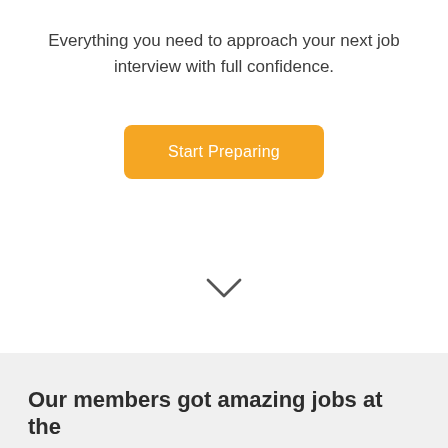Everything you need to approach your next job interview with full confidence.
[Figure (other): Orange rounded button labeled 'Start Preparing']
[Figure (other): Chevron/down arrow icon in dark gray]
Our members got amazing jobs at the